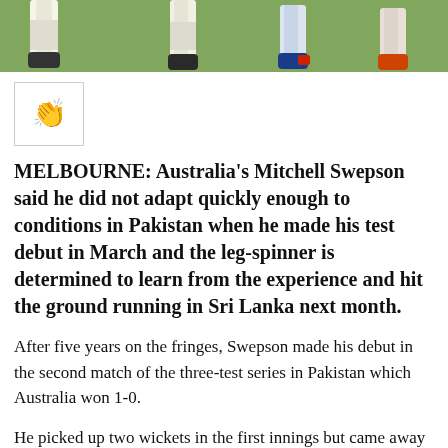[Figure (photo): Cricket players' legs and feet on a green grass field, showing cricket shoes and pads.]
[Figure (other): Clapping hands emoji icon inside a bordered box.]
MELBOURNE: Australia's Mitchell Swepson said he did not adapt quickly enough to conditions in Pakistan when he made his test debut in March and the leg-spinner is determined to learn from the experience and hit the ground running in Sri Lanka next month.
After five years on the fringes, Swepson made his debut in the second match of the three-test series in Pakistan which Australia won 1-0.
He picked up two wickets in the first innings but came away empty handed from the next three, toiling on the flats pitches of Karachi and Lahore...